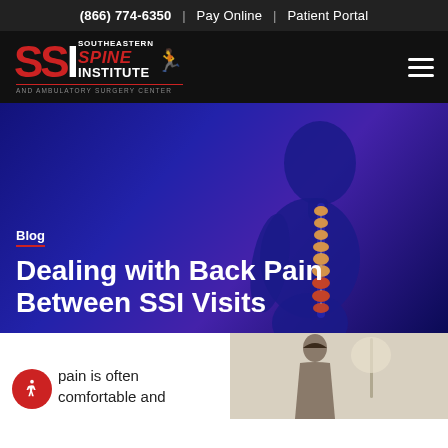(866) 774-6350 | Pay Online | Patient Portal
[Figure (logo): Southeastern Spine Institute and Ambulatory Surgery Center logo with SSI letters and running figure]
[Figure (photo): Hero image with blue-lit silhouette showing illuminated spine, with blog section label and article title overlay]
Blog
Dealing with Back Pain Between SSI Visits
pain is often comfortable and
[Figure (photo): Photo of a person, partially visible at bottom right of page]